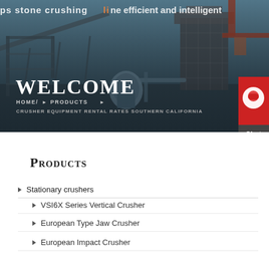[Figure (photo): Industrial stone crushing plant / equipment facility with steel structures, conveyors, and machinery against a sky background. Partially overlaid banner text reads 'stone crushing line efficient and intelligent'.]
Welcome
HOME  ▶  PRODUCTS  ▶
CRUSHER EQUIPMENT RENTAL RATES SOUTHERN CALIFORNIA
Products
Stationary crushers
VSI6X Series Vertical Crusher
European Type Jaw Crusher
European Impact Crusher